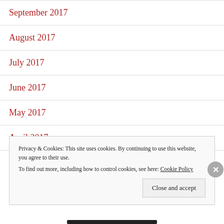September 2017
August 2017
July 2017
June 2017
May 2017
April 2017
March 2017
Privacy & Cookies: This site uses cookies. By continuing to use this website, you agree to their use.
To find out more, including how to control cookies, see here: Cookie Policy